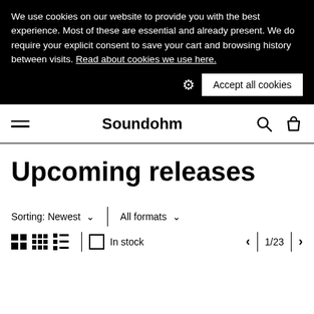We use cookies on our website to provide you with the best experience. Most of these are essential and already present. We do require your explicit consent to save your cart and browsing history between visits. Read about cookies we use here.
Accept all cookies
Soundohm
Upcoming releases
Sorting: Newest
All formats
In stock
1/23